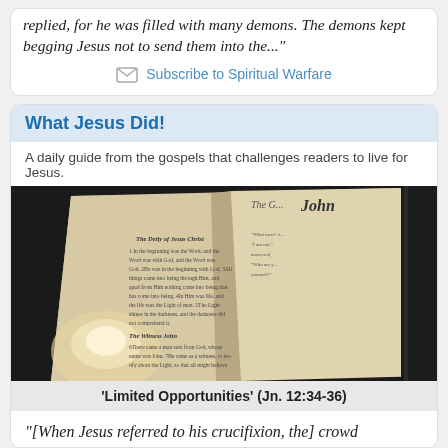replied, for he was filled with many demons. The demons kept begging Jesus not to send them into the...
Subscribe to Spiritual Warfare
What Jesus Did!
A daily guide from the gospels that challenges readers to live for Jesus.
[Figure (photo): Open Bible showing the Gospel of John, The Deity of Jesus Christ passage, with a candle beside it on a dark background]
'Limited Opportunities' (Jn. 12:34-36)
"[When Jesus referred to his crucifixion, the] crowd